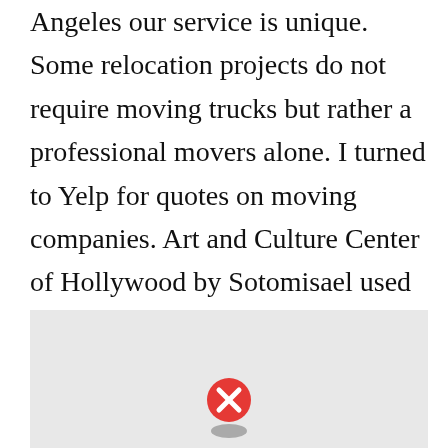Angeles our service is unique. Some relocation projects do not require moving trucks but rather a professional movers alone. I turned to Yelp for quotes on moving companies. Art and Culture Center of Hollywood by Sotomisael used under Public Domain. 57 reviews of Hollywood Moving Storage I used this company a couple of years ago to put some stuff in storage.
[Figure (map): A map placeholder area with a gray background and a red circular 'X' marker icon at the bottom center, partially visible.]